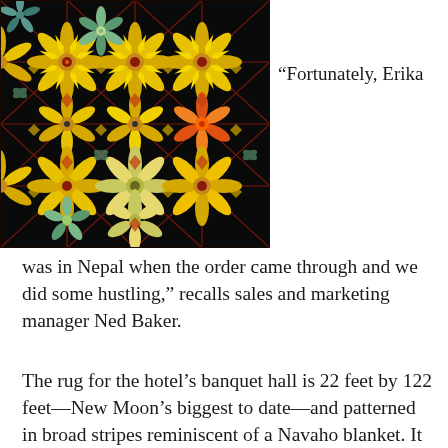[Figure (photo): Close-up photograph of a decorative rug/carpet with a black background featuring an ornate floral and geometric pattern with yellow, gold, green, and red/orange motifs including sunflower-like flowers and leaf designs arranged in a repeating lattice pattern.]
“Fortunately, Erika was in Nepal when the order came through and we did some hustling,” recalls sales and marketing manager Ned Baker.
The rug for the hotel’s banquet hall is 22 feet by 122 feet—New Moon’s biggest to date—and patterned in broad stripes reminiscent of a Navaho blanket. It was in three sections each or how it look